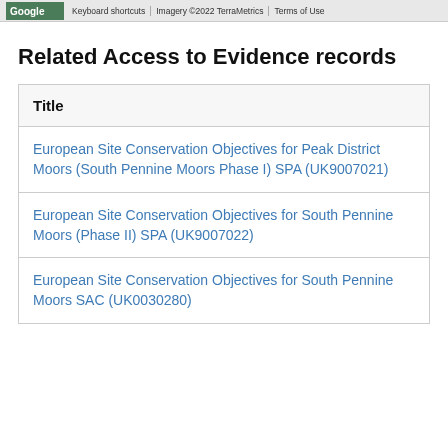Google  Keyboard shortcuts | Imagery ©2022 TerraMetrics | Terms of Use
Related Access to Evidence records
| Title |
| --- |
| European Site Conservation Objectives for Peak District Moors (South Pennine Moors Phase I) SPA (UK9007021) |
| European Site Conservation Objectives for South Pennine Moors (Phase II) SPA (UK9007022) |
| European Site Conservation Objectives for South Pennine Moors SAC (UK0030280) |